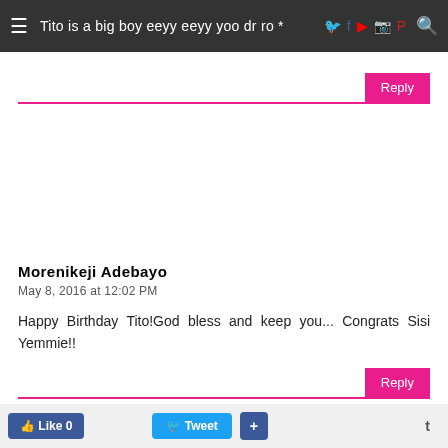Tito is a big boy eeyy eeyy yoo dr ro *
Morenikeji Adebayo
May 8, 2016 at 12:02 PM
Happy Birthday Tito!God bless and keep you... Congrats Sisi Yemmie!!
Reply
Morenikeji Adebayo
May 8, 2016 at 12:02 PM
Happy Birthday Tito!God bless and keep you... Congrats Sisi Yemmie!!